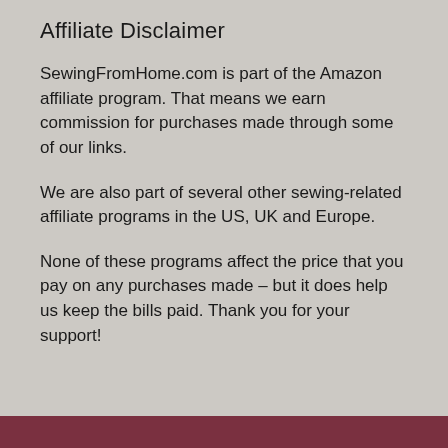Affiliate Disclaimer
SewingFromHome.com is part of the Amazon affiliate program. That means we earn commission for purchases made through some of our links.
We are also part of several other sewing-related affiliate programs in the US, UK and Europe.
None of these programs affect the price that you pay on any purchases made – but it does help us keep the bills paid. Thank you for your support!